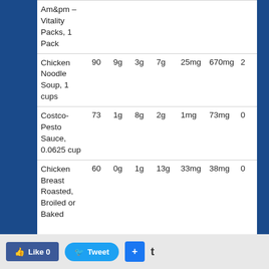| Food | Calories | Fat | Carbs | Protein | Cholesterol | Sodium |  |
| --- | --- | --- | --- | --- | --- | --- | --- |
| Am&pm – Vitality Packs, 1 Pack |  |  |  |  |  |  |  |
| Chicken Noodle Soup, 1 cups | 90 | 9g | 3g | 7g | 25mg | 670mg | 2 |
| Costco-Pesto Sauce, 0.0625 cup | 73 | 1g | 8g | 2g | 1mg | 73mg | 0 |
| Chicken Breast Roasted, Broiled or Baked | 60 | 0g | 1g | 13g | 33mg | 38mg | 0 |